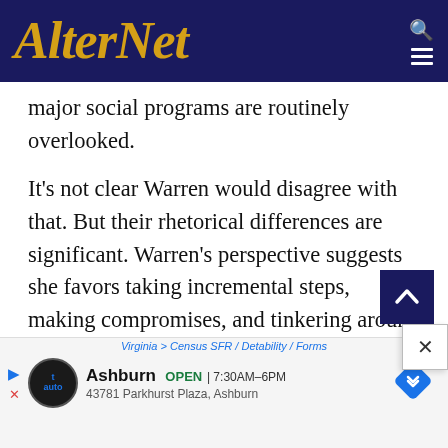AlterNet
major social programs are routinely overlooked.
It's not clear Warren would disagree with that. But their rhetorical differences are significant. Warren's perspective suggests she favors taking incremental steps, making compromises, and tinkering around with capitalism to make it function better — rather than risking everything on a massive government program that could be politically
[Figure (screenshot): Advertisement for auto service in Ashburn showing logo, open hours 7:30AM-6PM, address 43781 Parkhurst Plaza Ashburn, with navigation arrow icon]
Virginia > Census SFR / Detability / Forms